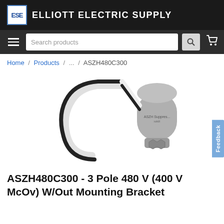Elliott Electric Supply
Home / Products / ... / ASZH480C300
[Figure (photo): Product photo of ASZH480C300 surge protector with wiring leads and gray cylindrical body with mounting base]
ASZH480C300 - 3 Pole 480 V (400 V McOv) W/Out Mounting Bracket